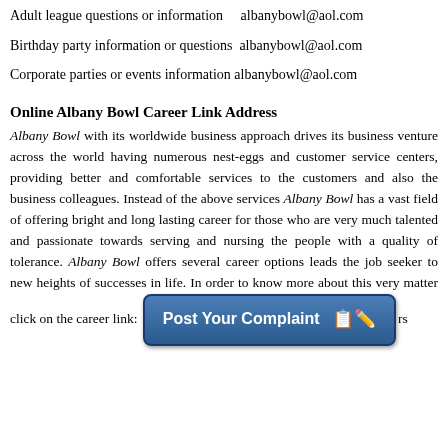Adult league questions or information    albanybowl@aol.com
Birthday party information or questions  albanybowl@aol.com
Corporate parties or events information  albanybowl@aol.com
Online Albany Bowl Career Link Address
Albany Bowl with its worldwide business approach drives its business venture across the world having numerous nest-eggs and customer service centers, providing better and comfortable services to the customers and also the business colleagues. Instead of the above services Albany Bowl has a vast field of offering bright and long lasting career for those who are very much talented and passionate towards serving and nursing the people with a quality of tolerance. Albany Bowl offers several career options leads the job seeker to new heights of successes in life. In order to know more about this very matter click on the career link: [Post Your Complaint button] rs